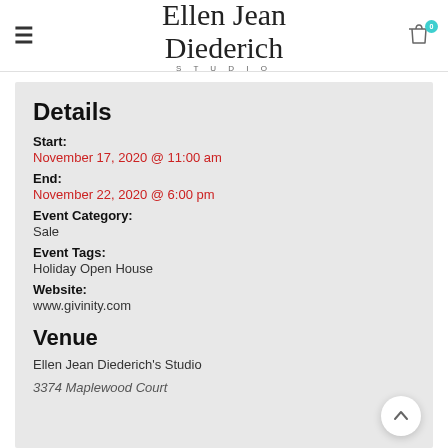Ellen Jean Diederich Studio
Details
Start:
November 17, 2020 @ 11:00 am
End:
November 22, 2020 @ 6:00 pm
Event Category:
Sale
Event Tags:
Holiday Open House
Website:
www.givinity.com
Venue
Ellen Jean Diederich's Studio
3374 Maplewood Court